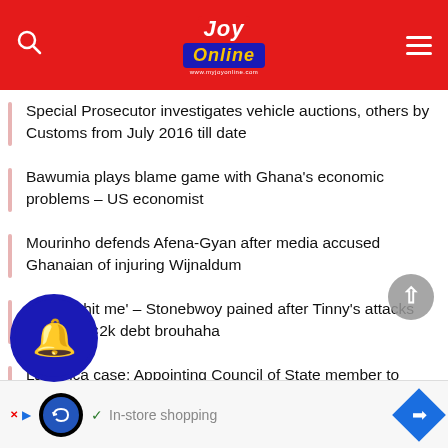[Figure (logo): Joy Online logo on red header bar with search icon and hamburger menu]
Special Prosecutor investigates vehicle auctions, others by Customs from July 2016 till date
Bawumia plays blame game with Ghana's economic problems – US economist
Mourinho defends Afena-Gyan after media accused Ghanaian of injuring Wijnaldum
'It really hit me' – Stonebwoy pained after Tinny's attacks following ¢2k debt brouhaha
Labianca case: Appointing Council of State member to GPHA board smacks of elite capture – Former CDD-Ghana boss
...utions public against 10 entities engaged in loan servi...
[Figure (screenshot): Ad bar at bottom with blue logo, In-store shopping text and navigation icon]